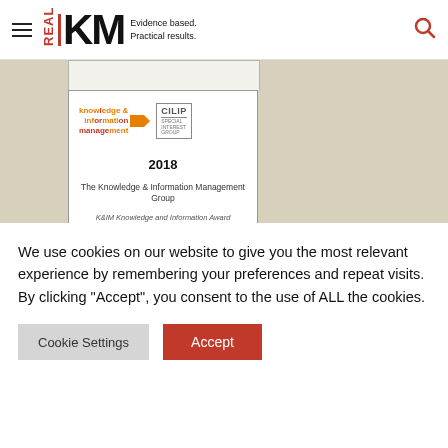Real KM — Evidence based. Practical results.
[Figure (screenshot): Screenshot of a KIM / CILIP Special Interest Group award document preview for 2018, showing the Knowledge & Information Management Group, KIM Knowledge and Information Award]
We use cookies on our website to give you the most relevant experience by remembering your preferences and repeat visits. By clicking “Accept”, you consent to the use of ALL the cookies.
Cookie Settings    Accept